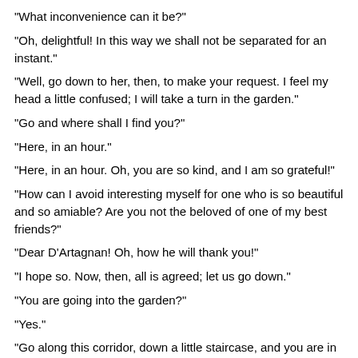"What inconvenience can it be?"
"Oh, delightful! In this way we shall not be separated for an instant."
"Well, go down to her, then, to make your request. I feel my head a little confused; I will take a turn in the garden."
"Go and where shall I find you?"
"Here, in an hour."
"Here, in an hour. Oh, you are so kind, and I am so grateful!"
"How can I avoid interesting myself for one who is so beautiful and so amiable? Are you not the beloved of one of my best friends?"
"Dear D'Artagnan! Oh, how he will thank you!"
"I hope so. Now, then, all is agreed; let us go down."
"You are going into the garden?"
"Yes."
"Go along this corridor, down a little staircase, and you are in it."
"Excellent; thank you!"
"And the two women parted, exchanging charming smiles.
Milady had told the truth--her head was confused, for her ill-arranged plans clashed one another like chaos. She required to be alone that she might